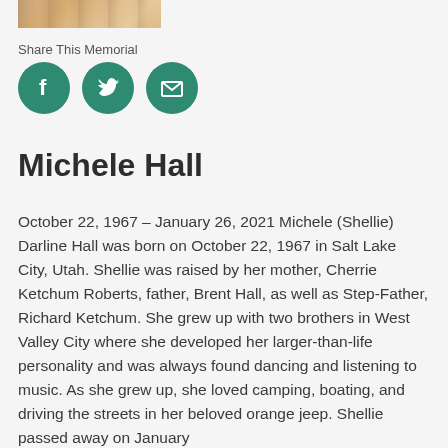[Figure (photo): Partial photograph of a person, cropped at top of page]
Share This Memorial
[Figure (infographic): Three teal circular social media share buttons: Facebook (f), Twitter (bird), and Email (envelope)]
Michele Hall
October 22, 1967 – January 26, 2021 Michele (Shellie) Darline Hall was born on October 22, 1967 in Salt Lake City, Utah. Shellie was raised by her mother, Cherrie Ketchum Roberts, father, Brent Hall, as well as Step-Father, Richard Ketchum. She grew up with two brothers in West Valley City where she developed her larger-than-life personality and was always found dancing and listening to music. As she grew up, she loved camping, boating, and driving the streets in her beloved orange jeep. Shellie passed away on January